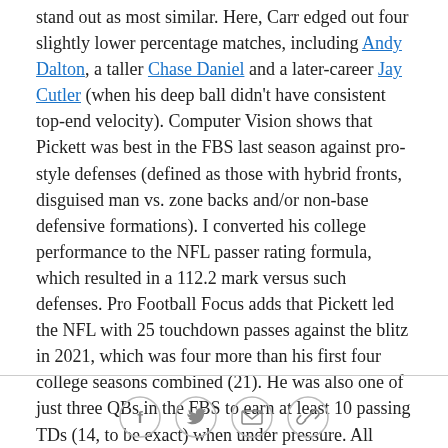stand out as most similar. Here, Carr edged out four slightly lower percentage matches, including Andy Dalton, a taller Chase Daniel and a later-career Jay Cutler (when his deep ball didn't have consistent top-end velocity). Computer Vision shows that Pickett was best in the FBS last season against pro-style defenses (defined as those with hybrid fronts, disguised man vs. zone backs and/or non-base defensive formations). I converted his college performance to the NFL passer rating formula, which resulted in a 112.2 mark versus such defenses. Pro Football Focus adds that Pickett led the NFL with 25 touchdown passes against the blitz in 2021, which was four more than his first four college seasons combined (21). He was also one of just three QBs in the FBS to earn at least 10 passing TDs (14, to be exact) when under pressure. All three points support
[Figure (other): Social sharing icons: Facebook, Twitter, Email, Link/copy]